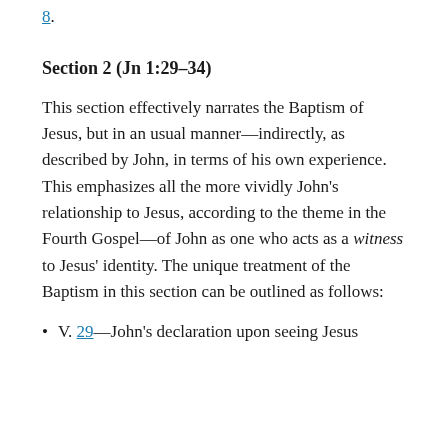8.
Section 2 (Jn 1:29–34)
This section effectively narrates the Baptism of Jesus, but in an usual manner—indirectly, as described by John, in terms of his own experience. This emphasizes all the more vividly John's relationship to Jesus, according to the theme in the Fourth Gospel—of John as one who acts as a witness to Jesus' identity. The unique treatment of the Baptism in this section can be outlined as follows:
V. 29—John's declaration upon seeing Jesus